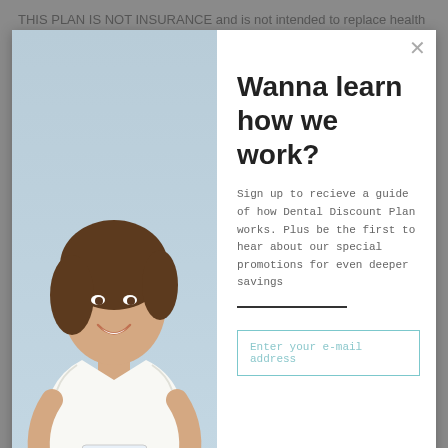THIS PLAN IS NOT INSURANCE and is not intended to replace health Insurance. This plan does not meet the minimum creditable coverage requirements under M.G.L. c. 111M and 956 CMR 5.00. This plan is not a Qualified Health Plan under the Affordable Care Act. This is not a Medicare prescription drug
[Figure (screenshot): Modal popup overlay showing a smiling woman holding a card on the left panel, and on the right panel: headline 'Wanna learn how we work?', subtext about signing up to receive a guide on Dental Discount Plan, a horizontal divider line, and an email input field with placeholder 'Enter your e-mail address'. A close (X) button is in the top right corner of the modal.]
Wanna learn how we work?
Sign up to recieve a guide of how Dental Discount Plan works. Plus be the first to hear about our special promotions for even deeper savings
Enter your e-mail address
[Figure (screenshot): Chat widget in the bottom right showing a white bubble with 'We're offline / Leave a message' and an orange circular chat icon with speech bubble symbols.]
We're offline
Leave a message